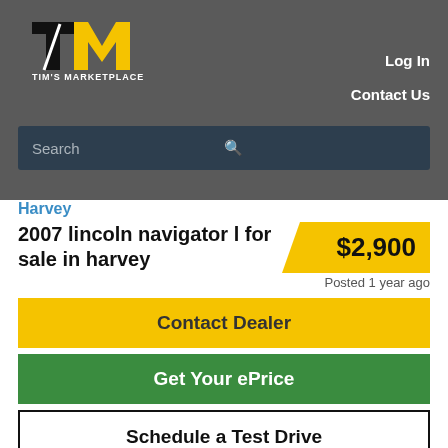[Figure (logo): Tim's Marketplace logo — stylized TM letters in black and yellow with text 'TIM'S MARKETPLACE' below]
Log In
Contact Us
Search
Harvey
2007 lincoln navigator l for sale in harvey
$2,900
Posted 1 year ago
Contact Dealer
Get Your ePrice
Schedule a Test Drive
FirstMarshallAutoAuction@systempostings.com